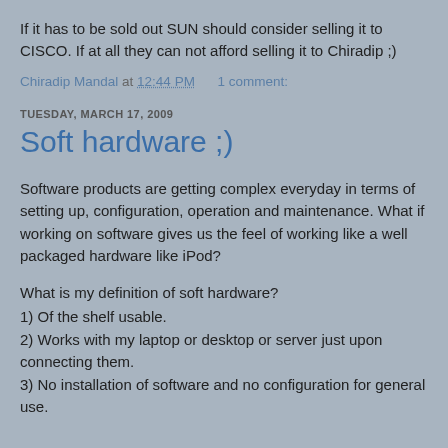If it has to be sold out SUN should consider selling it to CISCO. If at all they can not afford selling it to Chiradip ;)
Chiradip Mandal at 12:44 PM    1 comment:
TUESDAY, MARCH 17, 2009
Soft hardware ;)
Software products are getting complex everyday in terms of setting up, configuration, operation and maintenance. What if working on software gives us the feel of working like a well packaged hardware like iPod?
What is my definition of soft hardware?
1) Of the shelf usable.
2) Works with my laptop or desktop or server just upon connecting them.
3) No installation of software and no configuration for general use.